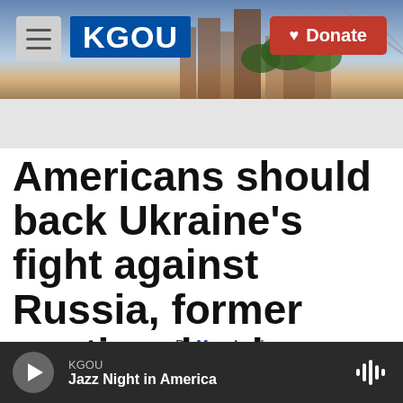KGOU — Donate
Americans should back Ukraine's fight against Russia, former wartime leader says
By Mary Louise Kelly, Kat Lonsdorf, Jonaki
KGOU — Jazz Night in America